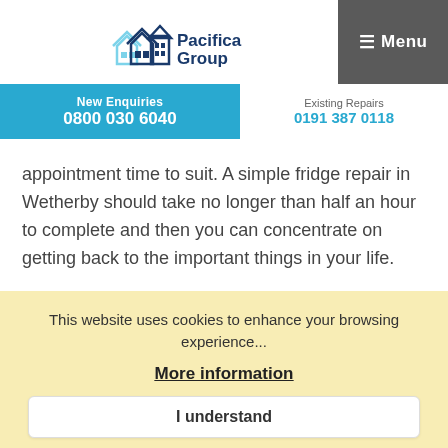Pacifica Group | Menu
New Enquiries 0800 030 6040 | Existing Repairs 0191 387 0118
appointment time to suit. A simple fridge repair in Wetherby should take no longer than half an hour to complete and then you can concentrate on getting back to the important things in your life.
This website uses cookies to enhance your browsing experience...
More information
I understand